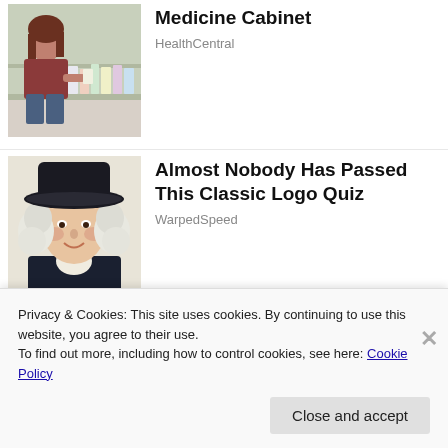[Figure (photo): Woman crouching in pharmacy aisle looking at product on shelf]
Medicine Cabinet
HealthCentral
[Figure (photo): Illustrated George Washington character wearing a black cowboy hat with white colonial wig]
Almost Nobody Has Passed This Classic Logo Quiz
WarpedSpeed
[Figure (photo): Blonde woman with eyes closed, soft focus background]
Privacy & Cookies: This site uses cookies. By continuing to use this website, you agree to their use.
To find out more, including how to control cookies, see here: Cookie Policy